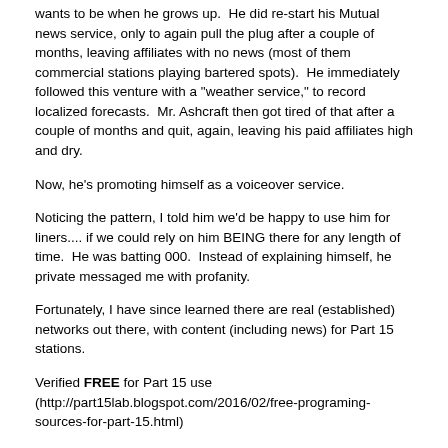wants to be when he grows up.  He did re-start his Mutual news service, only to again pull the plug after a couple of months, leaving affiliates with no news (most of them commercial stations playing bartered spots).  He immediately followed this venture with a "weather service," to record localized forecasts.  Mr. Ashcraft then got tired of that after a couple of months and quit, again, leaving his paid affiliates high and dry.
Now, he's promoting himself as a voiceover service.
Noticing the pattern, I told him we'd be happy to use him for liners.... if we could rely on him BEING there for any length of time.  He was batting 000.  Instead of explaining himself, he private messaged me with profanity.
Fortunately, I have since learned there are real (established) networks out there, with content (including news) for Part 15 stations.
Verified FREE for Part 15 use (http://part15lab.blogspot.com/2016/02/free-programing-sources-for-part-15.html)
Some suppliers may require you to sign-up and/or sign affidavits, but it's FREE and you don't have to worry about them going away.